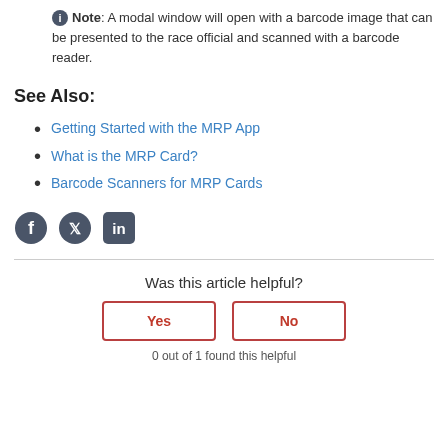Note: A modal window will open with a barcode image that can be presented to the race official and scanned with a barcode reader.
See Also:
Getting Started with the MRP App
What is the MRP Card?
Barcode Scanners for MRP Cards
[Figure (infographic): Social media sharing icons: Facebook, Twitter, LinkedIn]
Was this article helpful?
Yes   No
0 out of 1 found this helpful